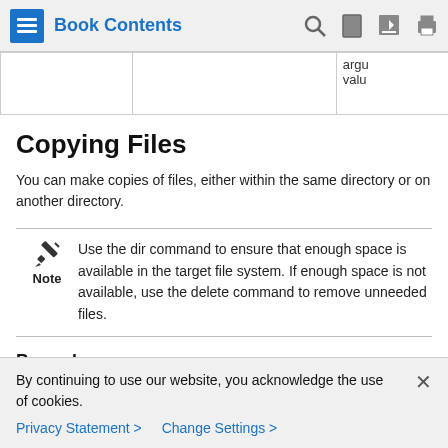Book Contents
|  |  | argu
valu |
Copying Files
You can make copies of files, either within the same directory or on another directory.
Note
Use the dir command to ensure that enough space is available in the target file system. If enough space is not available, use the delete command to remove unneeded files.
Procedure
By continuing to use our website, you acknowledge the use of cookies.
Privacy Statement >   Change Settings >